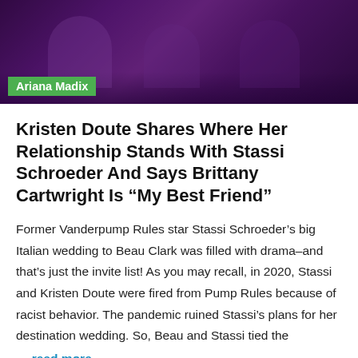[Figure (photo): Dark purple-toned photo of people at what appears to be a nightclub or event, with pink/purple lighting]
Ariana Madix
Kristen Doute Shares Where Her Relationship Stands With Stassi Schroeder And Says Brittany Cartwright Is “My Best Friend”
Former Vanderpump Rules star Stassi Schroeder’s big Italian wedding to Beau Clark was filled with drama–and that’s just the invite list! As you may recall, in 2020, Stassi and Kristen Doute were fired from Pump Rules because of racist behavior. The pandemic ruined Stassi’s plans for her destination wedding. So, Beau and Stassi tied the
… read more
July 28, 2022